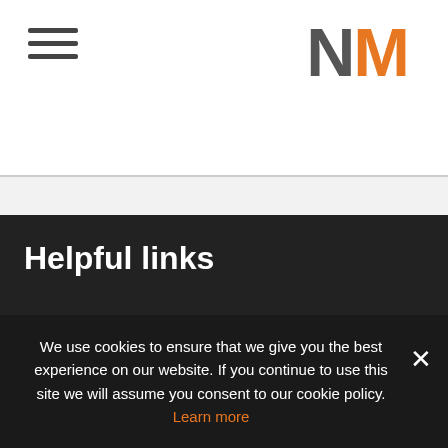[Figure (logo): NM logo with dark gray N and orange M letters]
Helpful links
We use cookies to ensure that we give you the best experience on our website. If you continue to use this site we will assume you consent to our cookie policy. Learn more